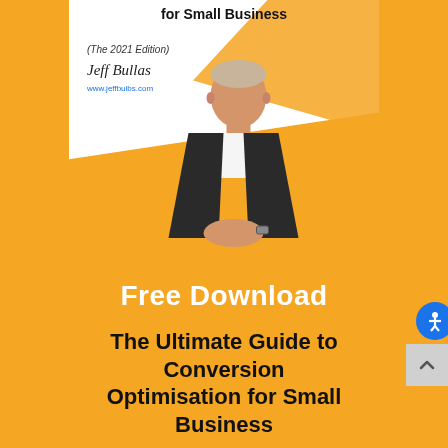[Figure (photo): Book cover for 'The Ultimate Guide to Conversion Optimisation for Small Business (The 2021 Edition)' by Jeff Bullas, featuring the author's photo, signature, and website www.jeffbulbs.com on an orange and white background.]
Free Download
The Ultimate Guide to Conversion Optimisation for Small Business